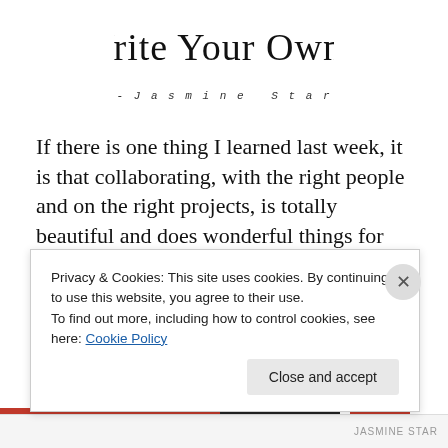[Figure (illustration): Handwritten cursive script logo reading 'Write Your Own.' with quotation mark]
-Jasmine Star
If there is one thing I learned last week, it is that collaborating, with the right people and on the right projects, is totally beautiful and does wonderful things for your creativity.
I just returned from the Alt Summit, in Salt Lake City, UT, and feel as though my mind and heart are full of
Privacy & Cookies: This site uses cookies. By continuing to use this website, you agree to their use.
To find out more, including how to control cookies, see here: Cookie Policy
Close and accept